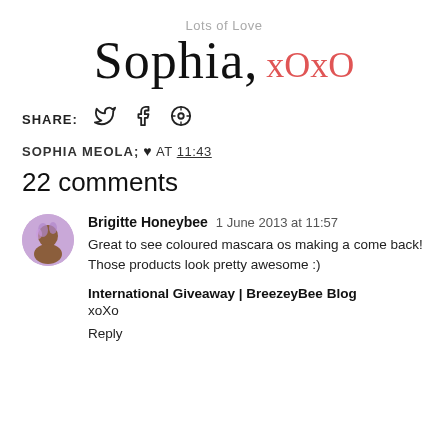Lots of Love
[Figure (illustration): Handwritten signature reading 'Sophia,' in black cursive with 'xOxO' in red/coral cursive below and to the right]
SHARE:  [Twitter icon]  [Facebook icon]  [Pinterest icon]
SOPHIA MEOLA; ♥ AT 11:43
22 comments
Brigitte Honeybee  1 June 2013 at 11:57
Great to see coloured mascara os making a come back! Those products look pretty awesome :)
International Giveaway | BreezeyBee Blog
xoXo
Reply